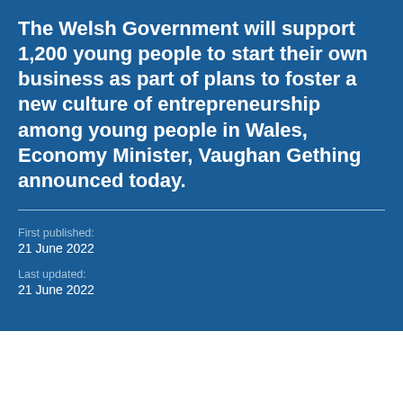The Welsh Government will support 1,200 young people to start their own business as part of plans to foster a new culture of entrepreneurship among young people in Wales, Economy Minister, Vaughan Gething announced today.
First published: 21 June 2022
Last updated: 21 June 2022